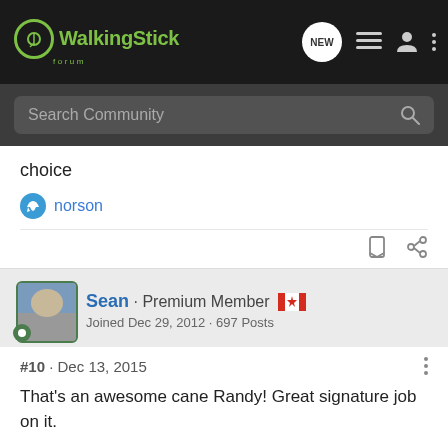WalkingStick Forum
choice
norson
Sean · Premium Member
Joined Dec 29, 2012 · 697 Posts
#10 · Dec 13, 2015
That's an awesome cane Randy! Great signature job on it.
Up here we just don't get the vine wrap you do in other parts other than a tangle in chain link fence.